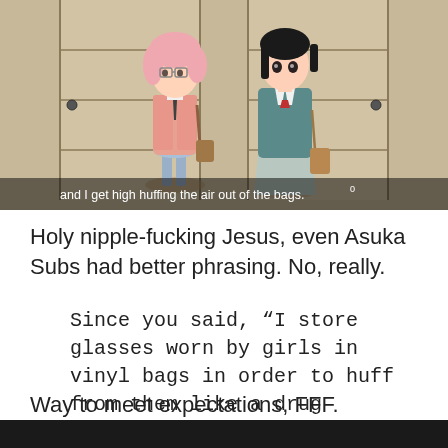[Figure (screenshot): Anime screenshot showing two girls standing in front of a shoji screen. Left girl has pink hair and glasses wearing a pink blazer. Right girl has dark hair wearing a teal school uniform. Subtitle text at bottom reads: 'and I get high huffing the air out of the bags.']
Holy nipple-fucking Jesus, even Asuka Subs had better phrasing. No, really.
Since you said, “I store glasses worn by girls in vinyl bags in order to huff from them like a drug addict.”
Way to meet expectations, FFF.
[Figure (screenshot): Bottom portion of another anime screenshot, mostly dark/black, partially visible at the very bottom of the page.]